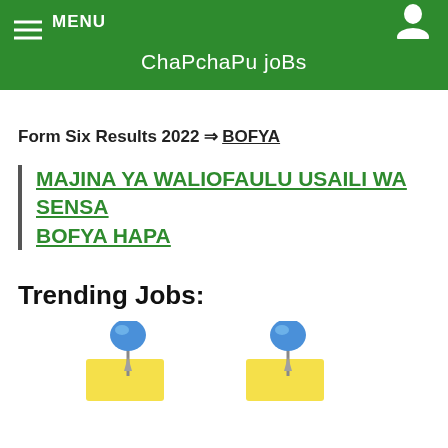MENU   ChaPchaPu joBs
Form Six Results 2022 ⇒ BOFYA
MAJINA YA WALIOFAULU USAILI WA SENSA BOFYA HAPA
Trending Jobs:
[Figure (illustration): Two blue pushpin/thumbtack icons with yellow sticky note papers beneath them, shown side by side at the bottom of the page.]